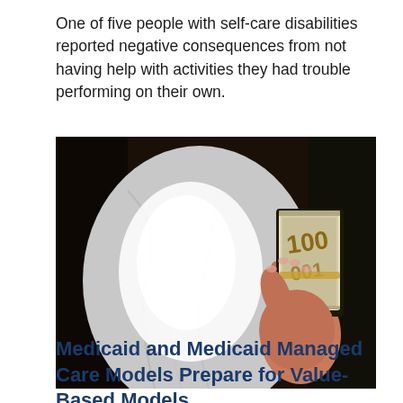One of five people with self-care disabilities reported negative consequences from not having help with activities they had trouble performing on their own.
[Figure (photo): A person in a white shirt holding a large bundle of cash (100 dollar bills) in their hand against a dark background.]
Medicaid and Medicaid Managed Care Models Prepare for Value-Based Models